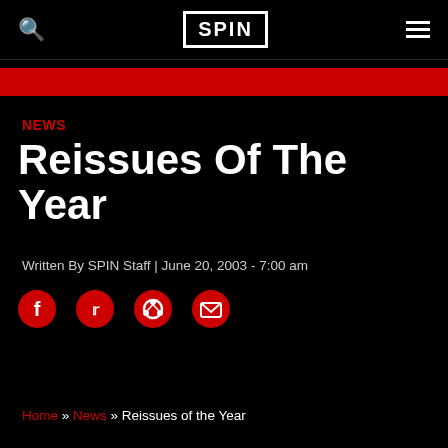SPIN
NEWS
Reissues Of The Year
Written By SPIN Staff | June 20, 2003 - 7:00 am
[Figure (other): Social sharing icons: Facebook, Twitter, Reddit, Email]
Home » News » Reissues of the Year